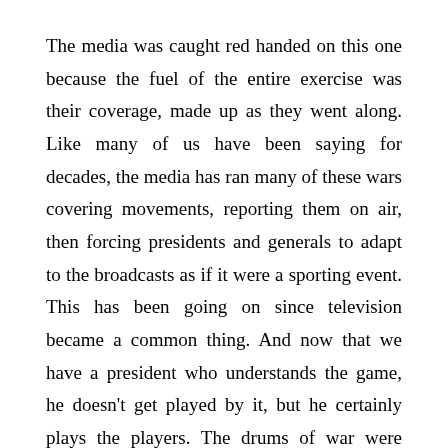The media was caught red handed on this one because the fuel of the entire exercise was their coverage, made up as they went along. Like many of us have been saying for decades, the media has ran many of these wars covering movements, reporting them on air, then forcing presidents and generals to adapt to the broadcasts as if it were a sporting event. This has been going on since television became a common thing. And now that we have a president who understands the game, he doesn't get played by it, but he certainly plays the players. The drums of war were being beaten by the media for an event that couldn't even take place if the Iranians even wanted it to. They simply don't have the resources, which left all the broadcasters reeling to